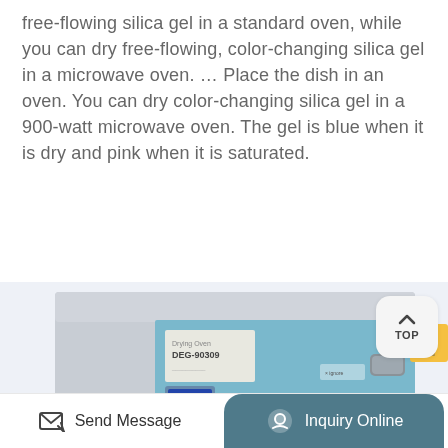free-flowing silica gel in a standard oven, while you can dry free-flowing, color-changing silica gel in a microwave oven. … Place the dish in an oven. You can dry color-changing silica gel in a 900-watt microwave oven. The gel is blue when it is dry and pink when it is saturated.
More Details
[Figure (photo): Close-up photograph of a laboratory drying oven (model DEG-90309) with a blue front door, control panel with LCD screen, handle, and warning label on the upper right.]
TOP
Send Message
Inquiry Online